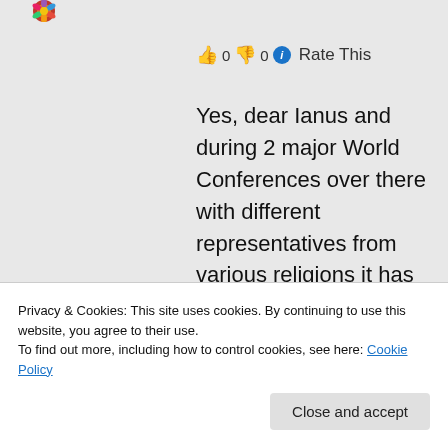[Figure (illustration): Colorful flower/mandala avatar icon in top left]
👍 0 👎 0 ℹ Rate This
Yes, dear Ianus and during 2 major World Conferences over there with different representatives from various religions it has proved and shown that they can live together in co-existence. It is also necessary for us to understand that the names we give to describe things cannot really explain those things as they put the whole into fragments, drawn by borders
Privacy & Cookies: This site uses cookies. By continuing to use this website, you agree to their use.
To find out more, including how to control cookies, see here: Cookie Policy
Close and accept
claim to be right...